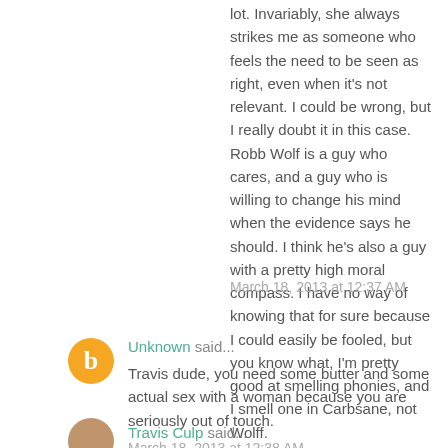lot. Invariably, she always strikes me as someone who feels the need to be seen as right, even when it's not relevant. I could be wrong, but I really doubt it in this case. Robb Wolf is a guy who cares, and a guy who is willing to change his mind when the evidence says he should. I think he's also a guy with a pretty high moral compass. I have no way of knowing that for sure because I could easily be fooled, but you know what, I'm pretty good at smelling phonies, and I smell one in Carbsane, not Wolff.
March 18, 2013 at 12:37 AM
[Figure (illustration): Orange circular Blogger avatar with white letter B]
Unknown said...
Travis dude, you need some butter and some actual sex with a woman because you are seriously out of touch.
March 18, 2013 at 12:38 AM
[Figure (photo): Small circular avatar photo for Travis Culp]
Travis Culp said...